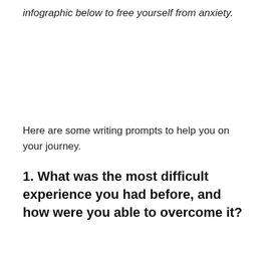infographic below to free yourself from anxiety.
Here are some writing prompts to help you on your journey.
1. What was the most difficult experience you had before, and how were you able to overcome it?